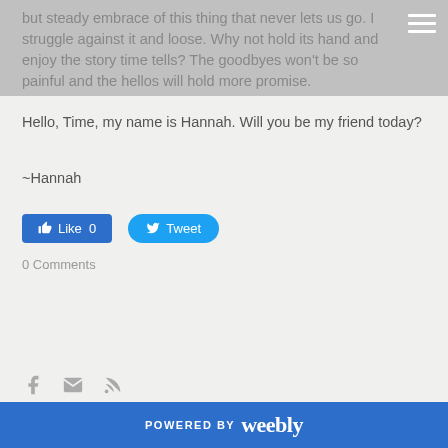but steady embrace of this thing that never lets us go. I struggle against it and loose. Why not hold its hand and enjoy the story time tells? The goodbyes won't be so painful and the hellos will hold more promise.
Hello, Time, my name is Hannah. Will you be my friend today?
~Hannah
[Figure (screenshot): Facebook Like button showing 0 likes and Twitter Tweet button]
0 Comments
[Figure (infographic): Social icons: Facebook, email/envelope, RSS feed]
POWERED BY weebly